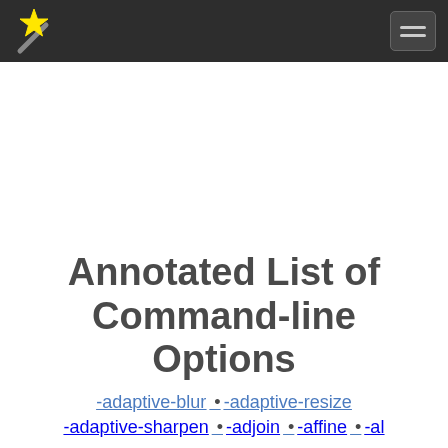Annotated List of Command-line Options navigation logo and hamburger menu
Annotated List of Command-line Options
-adaptive-blur •-adaptive-resize
-adaptive-sharpen -adjoin -affine -al...